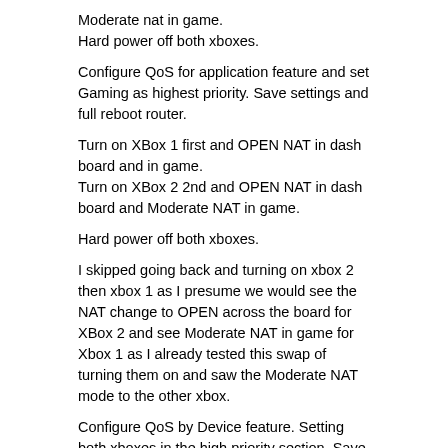Moderate nat in game.
Hard power off both xboxes.
Configure QoS for application feature and set Gaming as highest priority. Save settings and full reboot router.
Turn on XBox 1 first and OPEN NAT in dash board and in game.
Turn on XBox 2 2nd and OPEN NAT in dash board and Moderate NAT in game.
Hard power off both xboxes.
I skipped going back and turning on xbox 2 then xbox 1 as I presume we would see the NAT change to OPEN across the board for XBox 2 and see Moderate NAT in game for Xbox 1 as I already tested this swap of turning them on and saw the Moderate NAT mode to the other xbox.
Configure QoS by Device feature. Setting both xboxes in the high priority section. Save settings and full reboot the router.
Turn on XBox 1 and OPEN NAT in dash board and in game. Turn on Xbox 2 and OPEN NAT in dash board and Moderate NAT in game. Exited the game then restarted the game to see if any thing changed. Moderate NAT still in game.
Hard Power off both xboxes.
Full reboot of router.